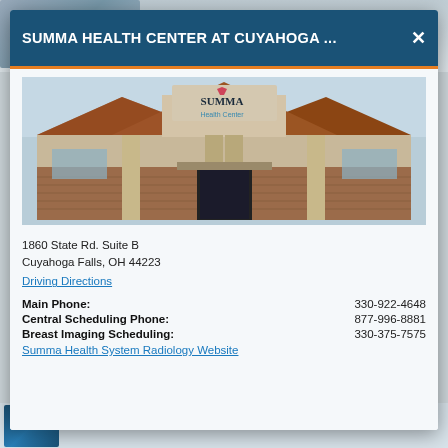SUMMA HEALTH CENTER AT CUYAHOGA ...
[Figure (photo): Exterior photo of Summa Health Center building with brick facade, copper/brown metal roof, and signage reading 'SUMMA Health Center']
1860 State Rd. Suite B
Cuyahoga Falls, OH 44223
Driving Directions
Main Phone:                     330-922-4648
Central Scheduling Phone:       877-996-8881
Breast Imaging Scheduling:      330-375-7575
Summa Health System Radiology Website